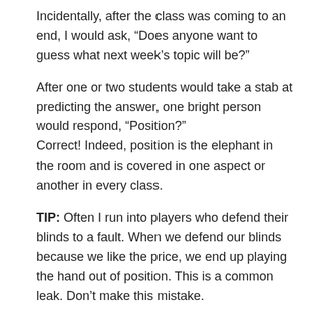Incidentally, after the class was coming to an end, I would ask, “Does anyone want to guess what next week’s topic will be?”
After one or two students would take a stab at predicting the answer, one bright person would respond, “Position?”
Correct! Indeed, position is the elephant in the room and is covered in one aspect or another in every class.
TIP: Often I run into players who defend their blinds to a fault. When we defend our blinds because we like the price, we end up playing the hand out of position. This is a common leak. Don’t make this mistake.